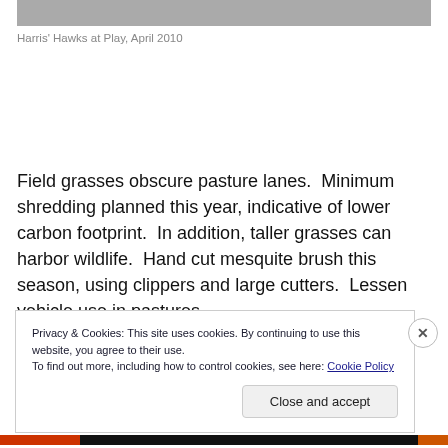[Figure (photo): Cropped photo area showing a grayed-out/placeholder image at the top of the page]
Harris' Hawks at Play, April 2010
Field grasses obscure pasture lanes.  Minimum shredding planned this year, indicative of lower carbon footprint.  In addition, taller grasses can harbor wildlife.  Hand cut mesquite brush this season, using clippers and large cutters.  Lessen vehicle use in pastures.
Privacy & Cookies: This site uses cookies. By continuing to use this website, you agree to their use.
To find out more, including how to control cookies, see here: Cookie Policy